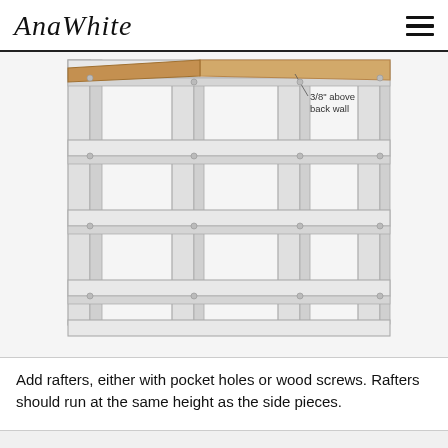AnaWhite
[Figure (engineering-diagram): 3D perspective drawing of a wooden shelf frame structure showing vertical posts and horizontal rafters/shelves. A diagonal beam labeled '3/8" above back wall' is visible at the top. The frame has multiple horizontal rungs and open rectangular compartments, drawn in light gray/white with line art style.]
Add rafters, either with pocket holes or wood screws. Rafters should run at the same height as the side pieces.